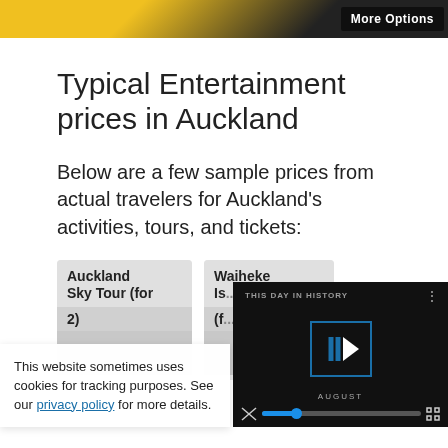[Figure (screenshot): Banner image with yellow and black pattern and a 'More Options' button overlay on the right]
Typical Entertainment prices in Auckland
Below are a few sample prices from actual travelers for Auckland's activities, tours, and tickets:
[Figure (screenshot): Two partially visible cards: 'Auckland Sky Tour (for 2)' and 'Waiheke Is... (f...)' with a video player overlay showing 'THIS DAY IN HISTORY' and video controls, and a cookie consent popup in the lower left]
This website sometimes uses cookies for tracking purposes. See our privacy policy for more details.